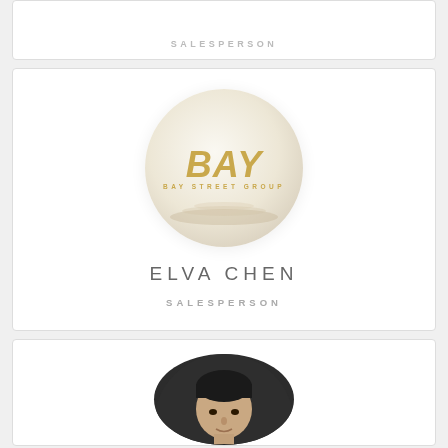SALESPERSON
[Figure (logo): Bay Street Group circular logo with gold BAY text and wave design on cream/beige background]
ELVA CHEN
SALESPERSON
[Figure (photo): Circular portrait photo of an Asian man with dark hair against dark background]